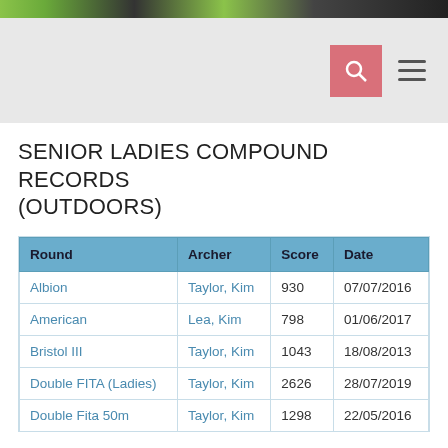SENIOR LADIES COMPOUND RECORDS (OUTDOORS)
| Round | Archer | Score | Date |
| --- | --- | --- | --- |
| Albion | Taylor, Kim | 930 | 07/07/2016 |
| American | Lea, Kim | 798 | 01/06/2017 |
| Bristol III | Taylor, Kim | 1043 | 18/08/2013 |
| Double FITA (Ladies) | Taylor, Kim | 2626 | 28/07/2019 |
| Double Fita 50m | Taylor, Kim | 1298 | 22/05/2016 |